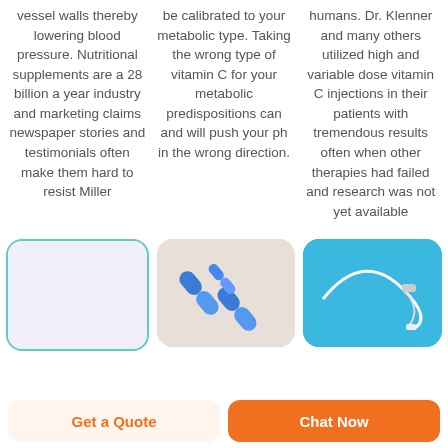vessel walls thereby lowering blood pressure. Nutritional supplements are a 28 billion a year industry and marketing claims newspaper stories and testimonials often make them hard to resist Miller
be calibrated to your metabolic type. Taking the wrong type of vitamin C for your metabolic predispositions can and will push your ph in the wrong direction.
humans. Dr. Klenner and many others utilized high and variable dose vitamin C injections in their patients with tremendous results often when other therapies had failed and research was not yet available
[Figure (photo): Medical/health card with teal border on lavender background]
[Figure (photo): Blue medical capsules/pills on a beige background]
[Figure (photo): IV drip tubing and medical equipment on blue background]